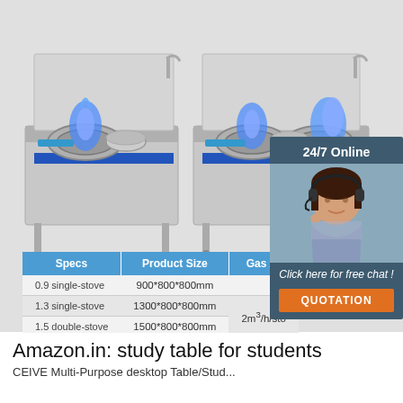[Figure (photo): Two commercial gas stoves (single-burner and double-burner) with blue flames on a light gray background, with a 24/7 Online chat widget overlay on the right side showing a woman with a headset, a 'Click here for free chat!' message, and a QUOTATION button.]
| Specs | Product Size | Gas Amount |
| --- | --- | --- |
| 0.9 single-stove | 900*800*800mm |  |
| 1.3 single-stove | 1300*800*800mm | 2m³/h/sto |
| 1.5 double-stove | 1500*800*800mm |  |
| 1.8 double-stove | 1800*800*800mm |  |
[Figure (other): TOP navigation arrow logo in red/orange with dot accents]
Amazon.in: study table for students
CEIVE Multi-Purpose desktop Table/Stud...